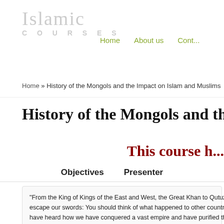Islamic Courses | Home | About us | Cont...
Home » History of the Mongols and the Impact on Islam and Muslims
History of the Mongols and the Impact...
This course h...
Objectives   Presenter
“From the King of Kings of the East and West, the Great Khan to Qutuzthe... escape our swords: You should think of what happened to other countri... have heard how we have conquered a vast empire and have purified the...